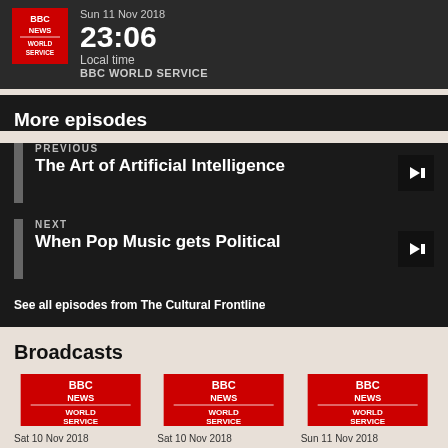Sun 11 Nov 2018
23:06
Local time
BBC WORLD SERVICE
More episodes
PREVIOUS
The Art of Artificial Intelligence
NEXT
When Pop Music gets Political
See all episodes from The Cultural Frontline
Broadcasts
Sat 10 Nov 2018
02:32
Sat 10 Nov 2018
18:32
Sun 11 Nov 2018
11:32